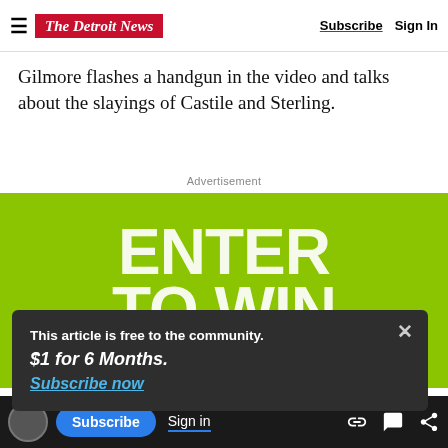The Detroit News — Subscribe | Sign In
Gilmore flashes a handgun in the video and talks about the slayings of Castile and Sterling.
Advertisement
[Figure (illustration): Green advertisement banner with large bold white text reading ENTER TO WIN]
This article is free to the community.
$1 for 6 Months.
Subscribe now
Subscribe | Sign in